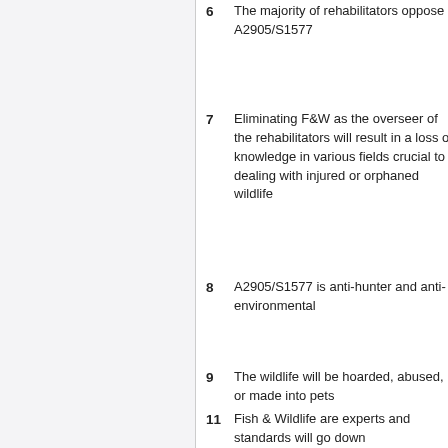6 The majority of rehabilitators oppose A2905/S1577
7 Eliminating F&W as the overseer of the rehabilitators will result in a loss of knowledge in various fields crucial to dealing with injured or orphaned wildlife
8 A2905/S1577 is anti-hunter and anti-environmental
9 The wildlife will be hoarded, abused, or made into pets
11 Fish & Wildlife are experts and standards will go down